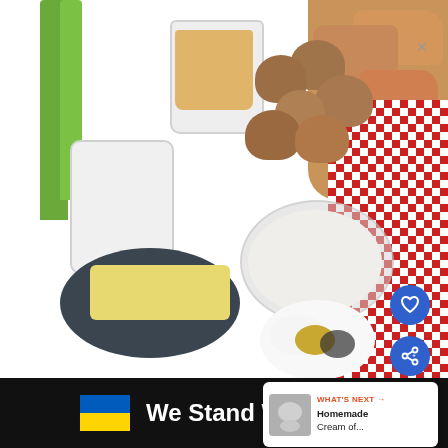[Figure (photo): Overhead flat-lay photo of cooking ingredients on a white surface: celery stalks, a glass measuring cup with orange liquid (broth), a white pitcher of milk, brown mushrooms, artisan bread rolls on a wooden board with a red checkered cloth, a stick of butter on a dark plate, a glass bowl of flour, and a small white bowl with salt, garlic powder, and black pepper. UI overlay includes a heart button, share button, and a 'What's Next' card showing 'Homemade Cream of...']
WHAT'S NEXT → Homemade Cream of...
We Stand With You